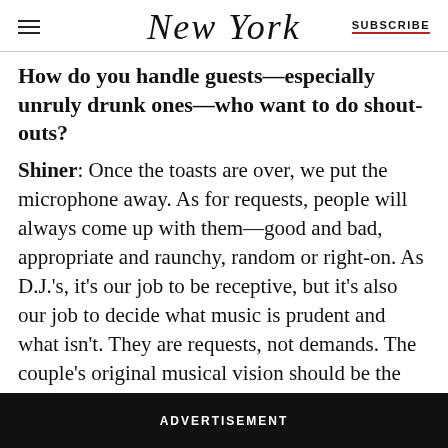New York | SUBSCRIBE
How do you handle guests—especially unruly drunk ones—who want to do shout-outs?
Shiner: Once the toasts are over, we put the microphone away. As for requests, people will always come up with them—good and bad, appropriate and raunchy, random or right-on. As D.J.'s, it's our job to be receptive, but it's also our job to decide what music is prudent and what isn't. They are requests, not demands. The couple's original musical vision should be the guiding force, and people hopefully get that and don't treat us like an iPod.
ADVERTISEMENT